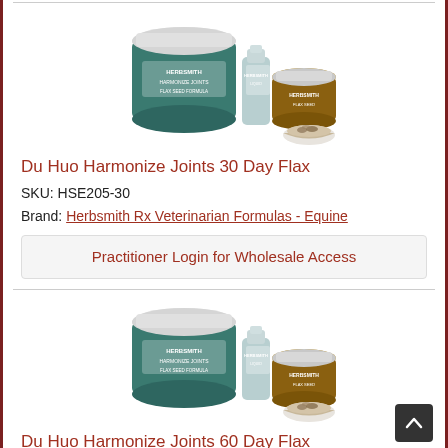[Figure (photo): Product photo of Herbsmith Du Huo Harmonize Joints supplement containers (jar, bottle, and small jar with herbs in a white bowl)]
Du Huo Harmonize Joints 30 Day Flax
SKU: HSE205-30
Brand: Herbsmith Rx Veterinarian Formulas - Equine
Practitioner Login for Wholesale Access
[Figure (photo): Product photo of Herbsmith Du Huo Harmonize Joints supplement containers (jar, bottle, and small jar with herbs in a white bowl)]
Du Huo Harmonize Joints 60 Day Flax
SKU: HSE205-60